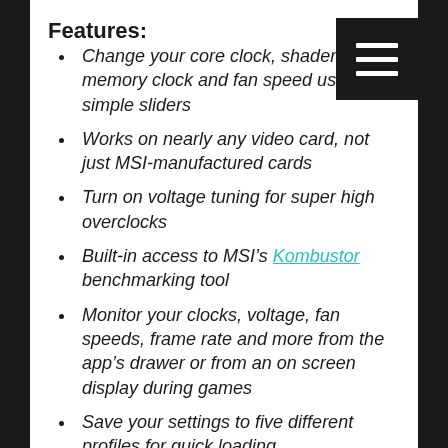Features:
Change your core clock, shader clock, memory clock and fan speed using simple sliders
Works on nearly any video card, not just MSI-manufactured cards
Turn on voltage tuning for super high overclocks
Built-in access to MSI’s Kombustor benchmarking tool
Monitor your clocks, voltage, fan speeds, frame rate and more from the app’s drawer or from an on screen display during games
Save your settings to five different profiles for quick loading
Take screenshots and capture videos from